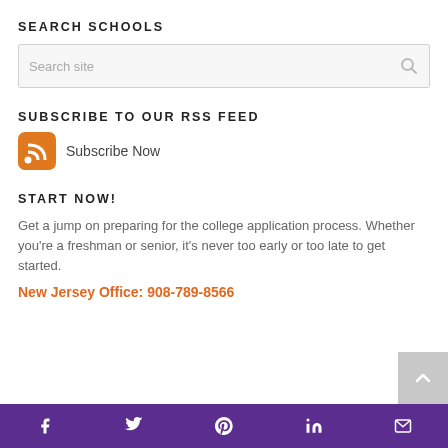SEARCH SCHOOLS
[Figure (other): Search input box with placeholder 'Search site' and a search icon on the right]
SUBSCRIBE TO OUR RSS FEED
[Figure (other): RSS feed icon (orange) with text 'Subscribe Now']
START NOW!
Get a jump on preparing for the college application process. Whether you’re a freshman or senior, it’s never too early or too late to get started.
New Jersey Office: 908-789-8566
Social media icons: Facebook, Twitter, Pinterest, LinkedIn, Email